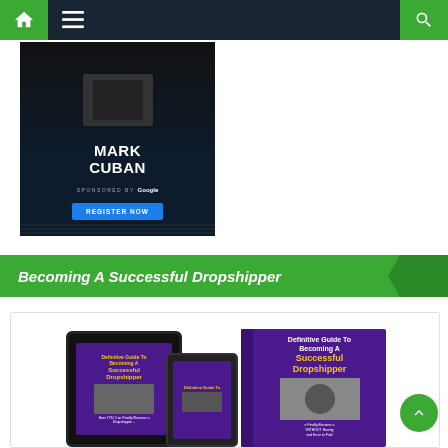Navigation bar with home, menu, and search icons
[Figure (photo): Mark Cuban advertisement banner sponsored by Google with Register Now button, dark background]
Becoming A Successful Dropshipper
[Figure (photo): Book covers for 'Definitive Guide To Becoming A Successful Dropshipper' shown on tablet, phone, and physical book]